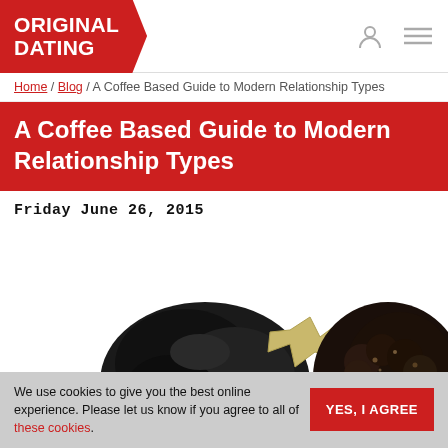ORIGINAL DATING
Home / Blog / A Coffee Based Guide to Modern Relationship Types
A Coffee Based Guide to Modern Relationship Types
Friday June 26, 2015
[Figure (photo): Two people seen from above, showing the tops of their heads — one with dark hair and a beige/gold hair clip, another with dark curly hair on the right side.]
We use cookies to give you the best online experience. Please let us know if you agree to all of these cookies.